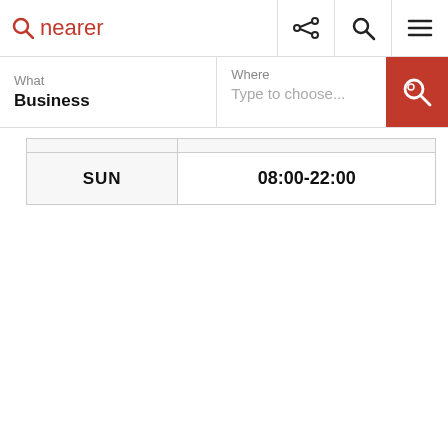[Figure (screenshot): Nearer website logo with red magnifying glass icon and red text 'nearer']
[Figure (screenshot): Navigation icons: share, search (magnifying glass), and hamburger menu]
What
Business
Where
Type to choose...
|  |  |
| --- | --- |
| SUN | 08:00-22:00 |